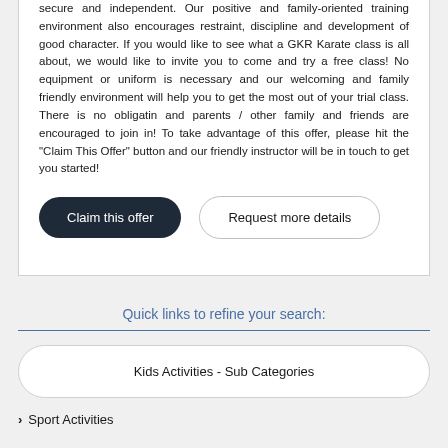secure and independent. Our positive and family-oriented training environment also encourages restraint, discipline and development of good character. If you would like to see what a GKR Karate class is all about, we would like to invite you to come and try a free class! No equipment or uniform is necessary and our welcoming and family friendly environment will help you to get the most out of your trial class. There is no obligatin and parents / other family and friends are encouraged to join in! To take advantage of this offer, please hit the "Claim This Offer" button and our friendly instructor will be in touch to get you started!
Claim this offer
Request more details
Quick links to refine your search:
Kids Activities - Sub Categories
Sport Activities